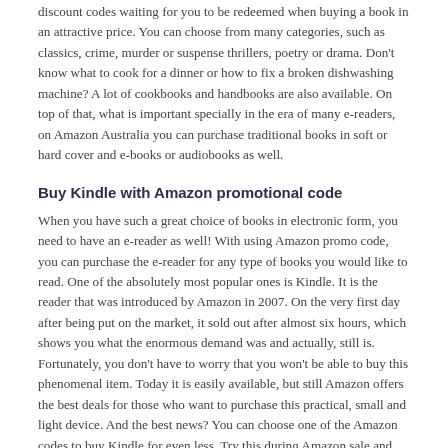discount codes waiting for you to be redeemed when buying a book in an attractive price. You can choose from many categories, such as classics, crime, murder or suspense thrillers, poetry or drama. Don't know what to cook for a dinner or how to fix a broken dishwashing machine? A lot of cookbooks and handbooks are also available. On top of that, what is important specially in the era of many e-readers, on Amazon Australia you can purchase traditional books in soft or hard cover and e-books or audiobooks as well.
Buy Kindle with Amazon promotional code
When you have such a great choice of books in electronic form, you need to have an e-reader as well! With using Amazon promo code, you can purchase the e-reader for any type of books you would like to read. One of the absolutely most popular ones is Kindle. It is the reader that was introduced by Amazon in 2007. On the very first day after being put on the market, it sold out after almost six hours, which shows you what the enormous demand was and actually, still is. Fortunately, you don't have to worry that you won't be able to buy this phenomenal item. Today it is easily available, but still Amazon offers the best deals for those who want to purchase this practical, small and light device. And the best news? You can choose one of the Amazon codes to buy Kindle for even less. Try this during Amazon sale and see how great it is to always have a good read with you any time of the day, without carrying around heavy traditional books. Life of any bookworm is easier with Amazon Kindle!